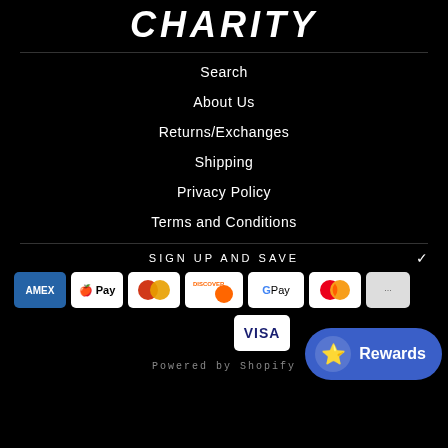CHARITY
Search
About Us
Returns/Exchanges
Shipping
Privacy Policy
Terms and Conditions
SIGN UP AND SAVE
[Figure (other): Payment method icons: American Express, Apple Pay, Diners Club, Discover, Google Pay, Mastercard, and Visa]
Powered by Shopify